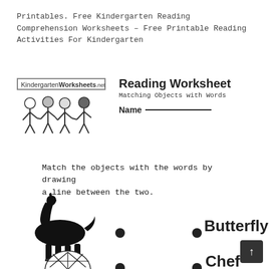Printables. Free Kindergarten Reading Comprehension Worksheets – Free Printable Reading Activities For Kindergarten
[Figure (logo): KindergartenWorksheets.net logo with cartoon children holding hands below a sign]
Reading Worksheet
Matching Objects with Words
Name ___________________
Match the objects with the words by drawing a line between the two.
[Figure (illustration): Black silhouette illustration of a horse standing]
• • Butterfly
[Figure (illustration): Black and white illustration of a butterfly wing]
• • Chef